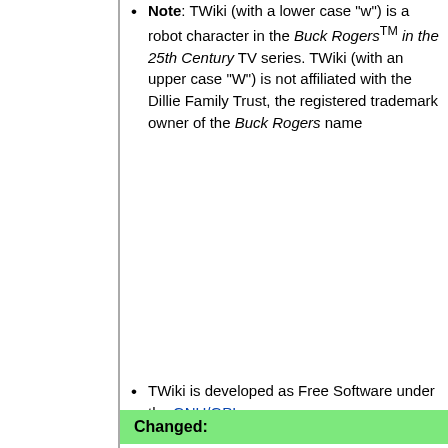Note: TWiki (with a lower case 'w') is a robot character in the Buck Rogers TM in the 25th Century TV series. TWiki (with an upper case "W") is not affiliated with the Dillie Family Trust, the registered trademark owner of the Buck Rogers name
TWiki is developed as Free Software under the GNU/GPL
Changed:
This site is running TWiki version TWiki-6.0.2, Sun, 29 Nov 2015, build 29687
This site is running TWiki version TWiki-6.0.2, Sun, 29 Nov 2015, build 29687, Plugin API version 6.02
Get the current version from TWiki.org Downloads
[Figure (other): twikiRobot88x31.gif image placeholder]